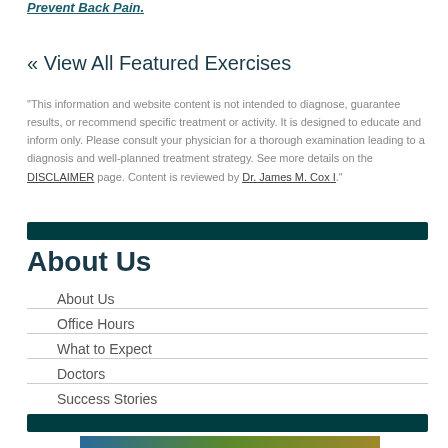Prevent Back Pain.
« View All Featured Exercises
"This information and website content is not intended to diagnose, guarantee results, or recommend specific treatment or activity. It is designed to educate and inform only. Please consult your physician for a thorough examination leading to a diagnosis and well-planned treatment strategy. See more details on the DISCLAIMER page. Content is reviewed by Dr. James M. Cox I."
About Us
About Us
Office Hours
What to Expect
Doctors
Success Stories